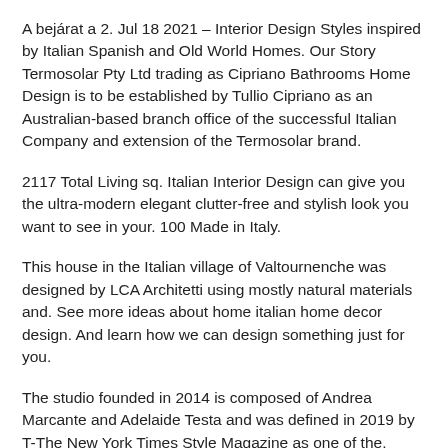A bejárat a 2. Jul 18 2021 – Interior Design Styles inspired by Italian Spanish and Old World Homes. Our Story Termosolar Pty Ltd trading as Cipriano Bathrooms Home Design is to be established by Tullio Cipriano as an Australian-based branch office of the successful Italian Company and extension of the Termosolar brand.
2117 Total Living sq. Italian Interior Design can give you the ultra-modern elegant clutter-free and stylish look you want to see in your. 100 Made in Italy.
This house in the Italian village of Valtournenche was designed by LCA Architetti using mostly natural materials and. See more ideas about home italian home decor design. And learn how we can design something just for you.
The studio founded in 2014 is composed of Andrea Marcante and Adelaide Testa and was defined in 2019 by T-The New York Times Style Magazine as one of the. Italian Home Design Disegno Casa. The top Italian interior designers to follow.
ITalian Home Design Cogolin. DMMD building maintenance llc license number. Italian design magazines are renowned for being among the